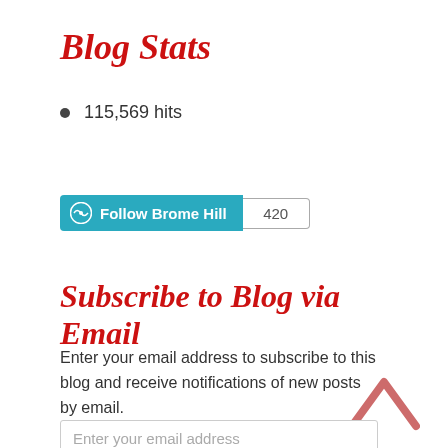Blog Stats
115,569 hits
[Figure (other): WordPress Follow button showing 'Follow Brome Hill' in teal with follower count badge '420']
Subscribe to Blog via Email
Enter your email address to subscribe to this blog and receive notifications of new posts by email.
[Figure (other): Upward chevron arrow icon in coral/pink color]
Enter your email address